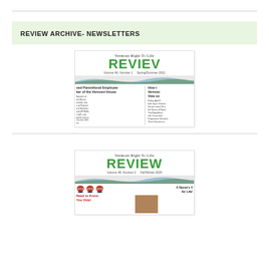REVIEW ARCHIVE- NEWSLETTERS
[Figure (illustration): Thumbnail of Vermont Right To Life REVIEW newsletter, Volume 49, Number 1, Spring/Summer 2021. Shows headline about Planned Parenthood Employee becoming Speaker of the Vermont House, and How Vermont Senate voted on abortion.]
[Figure (illustration): Thumbnail of Vermont Right To Life REVIEW newsletter, Volume 48, Number 2, Fall/Winter 2020. Shows voting icons and headline A Nurse's Voice for Life! and Need to Know Before You Vote!]